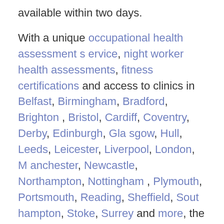available within two days.
With a unique occupational health assessment service, night worker health assessments, fitness certifications and access to clinics in Belfast, Birmingham, Bradford, Brighton, Bristol, Cardiff, Coventry, Derby, Edinburgh, Glasgow, Hull, Leeds, Leicester, Liverpool, London, Manchester, Newcastle, Northampton, Nottingham, Plymouth, Portsmouth, Reading, Sheffield, Southampton, Stoke, Surrey and more, the business provides high quality, expert medical advice.
Please contact us for further information or assistance.